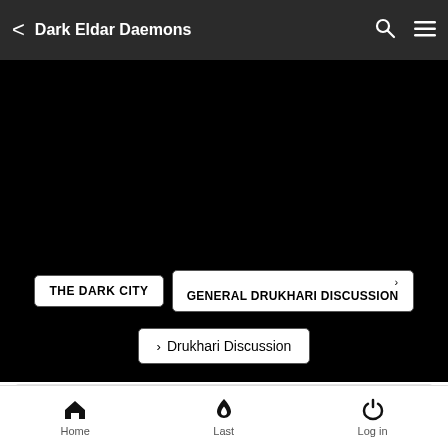Dark Eldar Daemons
[Figure (screenshot): Black background area with navigation breadcrumb buttons: THE DARK CITY, > GENERAL DRUKHARI DISCUSSION, and > Drukhari Discussion]
Dark Eldar Daemons
Home | Last | Log in